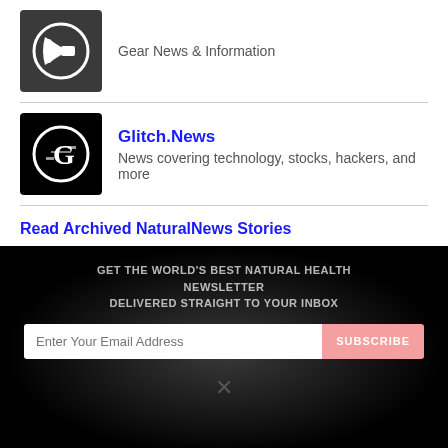[Figure (logo): Dark logo with megaphone icon]
Gear News & Information
[Figure (logo): Black logo with Glitch.News G icon]
Glitch.News
News covering technology, stocks, hackers, and more
Read Archived NaturalNews Stories
GET THE WORLD'S BEST NATURAL HEALTH NEWSLETTER DELIVERED STRAIGHT TO YOUR INBOX
BY CONTINUING TO BROWSE OUR SITE YOU AGREE TO OUR USE OF COOKIES AND OUR PRIVACY POLICY.
Agree and close